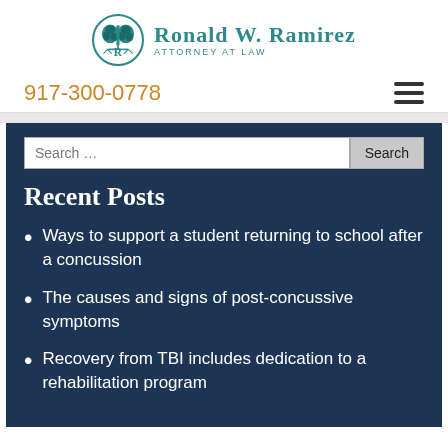[Figure (logo): Ronald W. Ramirez Attorney at Law logo with teal brain/scales emblem]
917-300-0778
Recent Posts
Ways to support a student returning to school after a concussion
The causes and signs of post-concussive symptoms
Recovery from TBI includes dedication to a rehabilitation program